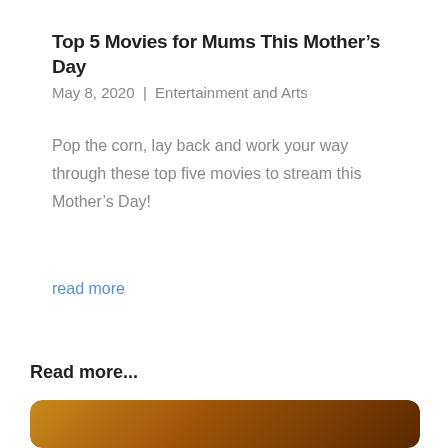Top 5 Movies for Mums This Mother's Day
May 8, 2020  |  Entertainment and Arts
Pop the corn, lay back and work your way through these top five movies to stream this Mother's Day!
read more
Read more...
[Figure (photo): Partially visible image with warm brown/amber tones at the bottom of the page]